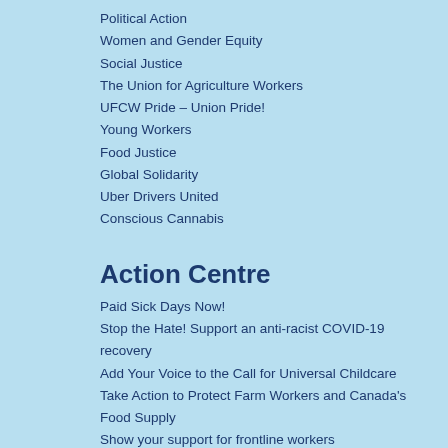Political Action
Women and Gender Equity
Social Justice
The Union for Agriculture Workers
UFCW Pride – Union Pride!
Young Workers
Food Justice
Global Solidarity
Uber Drivers United
Conscious Cannabis
Action Centre
Paid Sick Days Now!
Stop the Hate! Support an anti-racist COVID-19 recovery
Add Your Voice to the Call for Universal Childcare
Take Action to Protect Farm Workers and Canada's Food Supply
Show your support for frontline workers
Help Food Processing Workers!
Economic Security for All
What you need to know about COVID-19
Support the expansion of EI benefits